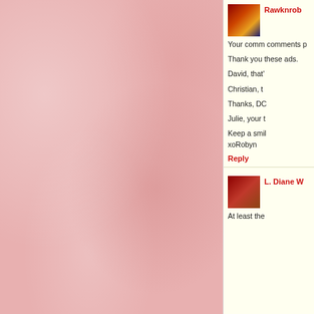[Figure (photo): Pink/rose textured background on left panel]
[Figure (photo): Avatar image for Rawknrob user - space/globe themed]
Rawknrob
Your comm comments p

Thank you these ads.

David, that'

Christian, t

Thanks, DC

Julie, your t

Keep a smil xoRobyn
Reply
[Figure (photo): Avatar image for L. Diane W user - woman with reddish hair]
L. Diane W
At least the